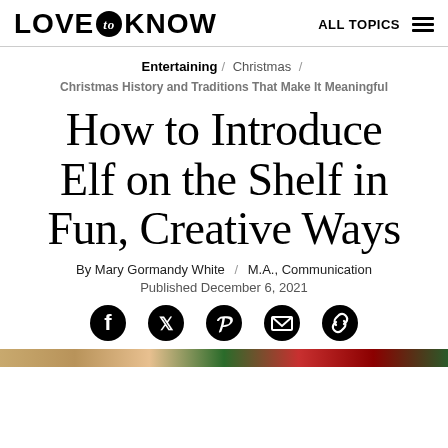LOVE to KNOW  ALL TOPICS
Entertaining / Christmas / Christmas History and Traditions That Make It Meaningful
How to Introduce Elf on the Shelf in Fun, Creative Ways
By Mary Gormandy White / M.A., Communication
Published December 6, 2021
[Figure (illustration): Social share icons: Facebook, Twitter, Pinterest, Email, Link]
[Figure (photo): Bottom strip of a photo, showing warm tan/green/red colors suggesting a Christmas themed image]